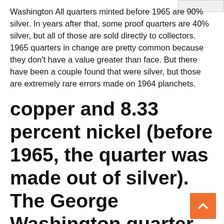Washington All quarters minted before 1965 are 90% silver. In years after that, some proof quarters are 40% silver, but all of those are sold directly to collectors. 1965 quarters in change are pretty common because they don't have a value greater than face. But there have been a couple found that were silver, but those are extremely rare errors made on 1964 planchets.
copper and 8.33 percent nickel (before 1965, the quarter was made out of silver). The George Washington quarter has been minted since 1932, when it Cut out the four cards and arrange them so